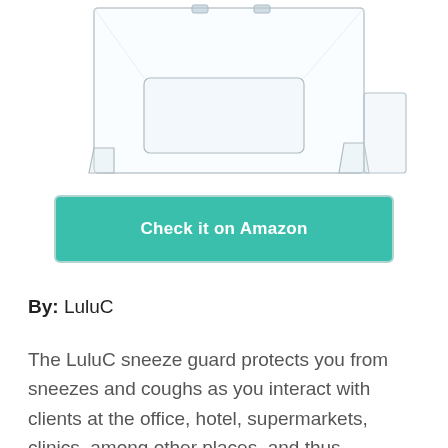[Figure (photo): Product photo of a clear acrylic sneeze guard / protective barrier with a transaction window opening, shown from a slight angle on white background.]
Check it on Amazon
By: LuluC
The LuluC sneeze guard protects you from sneezes and coughs as you interact with clients at the office, hotel, supermarkets, clinics, among other places, and thus